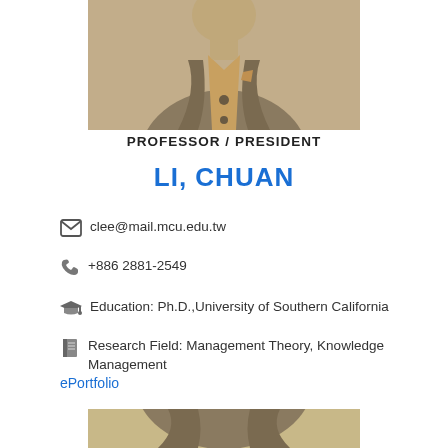[Figure (photo): Upper portion of a person in a light brown/tan blazer, partial torso view, profile photo for professor listing]
PROFESSOR / PRESIDENT
LI, CHUAN
clee@mail.mcu.edu.tw
+886 2881-2549
Education: Ph.D.,University of Southern California
Research Field: Management Theory, Knowledge Management
ePortfolio
[Figure (photo): Bottom partial photo of person in tan/beige blazer, continuation of profile photo]